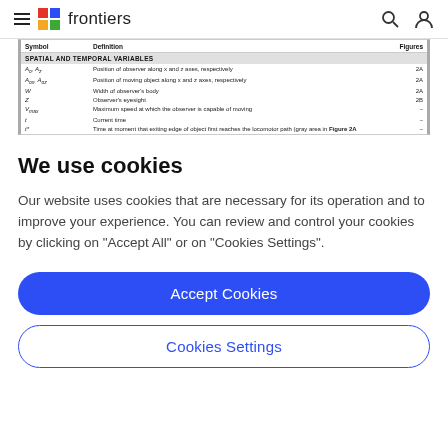frontiers
| Symbol | Definition | Figures |
| --- | --- | --- |
| SPATIAL AND TEMPORAL VARIABLES |  |  |
| Ao, Az | Position of observer along x and z axes, respectively | 2A |
| Aox, Aoz | Position of moving object along x and z axes, respectively | 2A |
| W | Width of observer's body | 2A |
| Z | Observer's eyesight | 2B |
| Vmax | Maximum speed at which the observer is capable of moving | – |
| t | Current time | – |
| t* | Time at moment that exiting edge of object first reaches the locomotor path (gray area in Figure 2A) | – |
We use cookies
Our website uses cookies that are necessary for its operation and to improve your experience. You can review and control your cookies by clicking on "Accept All" or on "Cookies Settings".
Accept Cookies
Cookies Settings